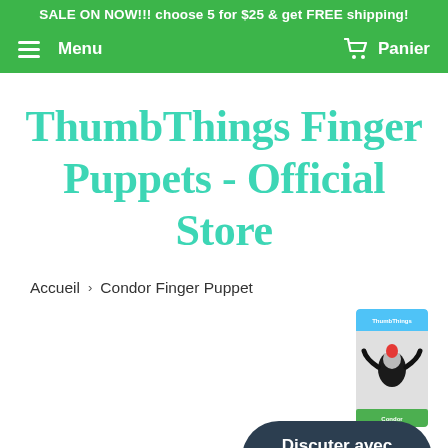SALE ON NOW!!! choose 5 for $25 & get FREE shipping!
Menu | Panier
ThumbThings Finger Puppets - Official Store
Accueil > Condor Finger Puppet
[Figure (photo): Product photo of a finger puppet in packaging]
Discuter avec nous